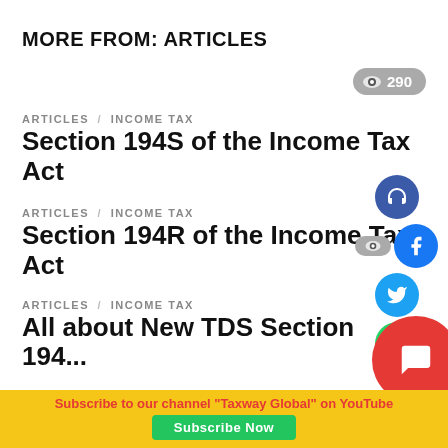MORE FROM: ARTICLES
290
ARTICLES  INCOME TAX
Section 194S of the Income Tax Act
ARTICLES  INCOME TAX
Section 194R of the Income Tax Act
ARTICLES  INCOME TAX
All about New TDS Section 194...
Subscribe to our channel "Taxway Global" on YouTube
Subscribe Now